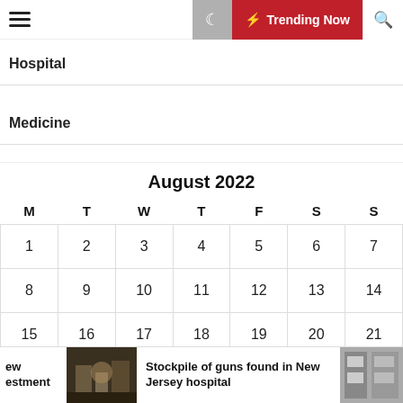Navigation bar with hamburger menu, moon icon, Trending Now button, and search icon
Hospital
Medicine
| M | T | W | T | F | S | S |
| --- | --- | --- | --- | --- | --- | --- |
| 1 | 2 | 3 | 4 | 5 | 6 | 7 |
| 8 | 9 | 10 | 11 | 12 | 13 | 14 |
| 15 | 16 | 17 | 18 | 19 | 20 | 21 |
| 22 | 23 | 24 | 25 | 26 | 27 | 28 |
| 29 | 30 | 31 |  |  |  |  |
Stockpile of guns found in New Jersey hospital